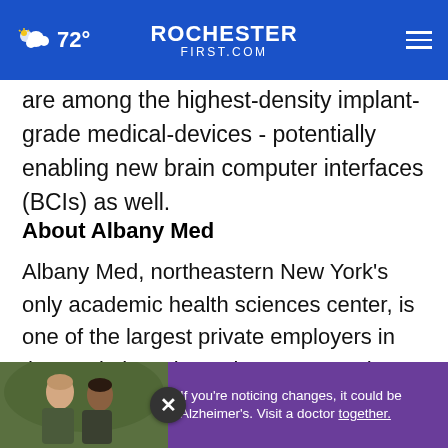72° ROCHESTERFIRST.COM
are among the highest-density implant-grade medical-devices - potentially enabling new brain computer interfaces (BCIs) as well.
About Albany Med
Albany Med, northeastern New York's only academic health sciences center, is one of the largest private employers in the Capital Region. It incorporates the 766-bed Albany Medical Center [and provides] a range of medical and surgical services in the region,
[Figure (photo): Advertisement overlay at bottom: photo of two men outdoors on left, purple panel with text 'If you're noticing changes, it could be Alzheimer's. Visit a doctor together.' on right, with a close (X) button.]